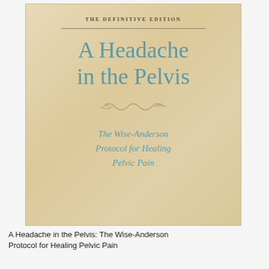[Figure (illustration): Book cover of 'A Headache in the Pelvis: The Wise-Anderson Protocol for Healing Pelvic Pain, The Definitive Edition'. Cream/beige background with teal/blue title text, decorative ornament, and italic subtitle text.]
A Headache in the Pelvis: The Wise-Anderson Protocol for Healing Pelvic Pain